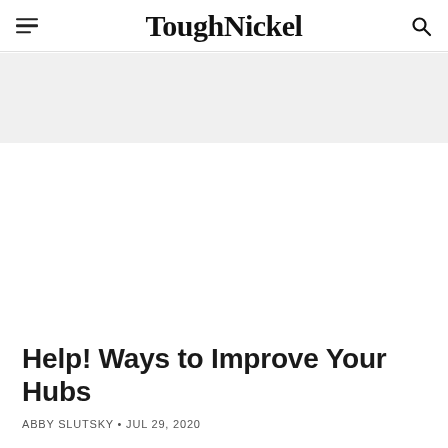ToughNickel
Help! Ways to Improve Your Hubs
ABBY SLUTSKY • JUL 29, 2020